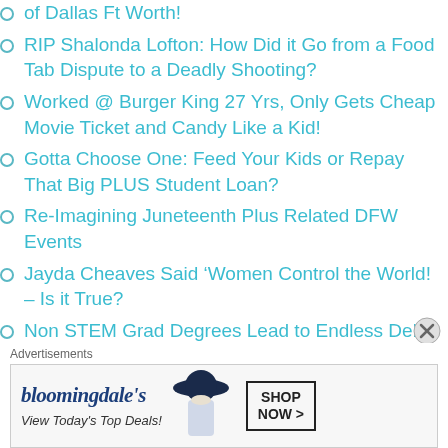of Dallas Ft Worth!
RIP Shalonda Lofton: How Did it Go from a Food Tab Dispute to a Deadly Shooting?
Worked @ Burger King 27 Yrs, Only Gets Cheap Movie Ticket and Candy Like a Kid!
Gotta Choose One: Feed Your Kids or Repay That Big PLUS Student Loan?
Re-Imagining Juneteenth Plus Related DFW Events
Jayda Cheaves Said ‘Women Control the World! – Is it True?
Non STEM Grad Degrees Lead to Endless Debt! You Can Do Better Pt 11
Advertisements
[Figure (screenshot): Bloomingdale's advertisement banner: logo, 'View Today's Top Deals!', woman with hat, SHOP NOW button]